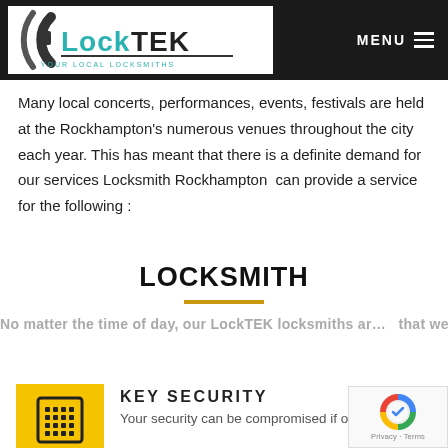[Figure (logo): LockTEK Your Local Locksmiths logo with dark circular arc and teal/dark text]
MENU
Many local concerts, performances, events, festivals are held at the Rockhampton's numerous venues throughout the city each year. This has meant that there is a definite demand for our services Locksmith Rockhampton can provide a service for the following :
LOCKSMITH
No matter the time of day, our LockTEK locksmiths ar… that we can help get you out of wh…
KEY SECURITY
Your security can be compromised if old keys are